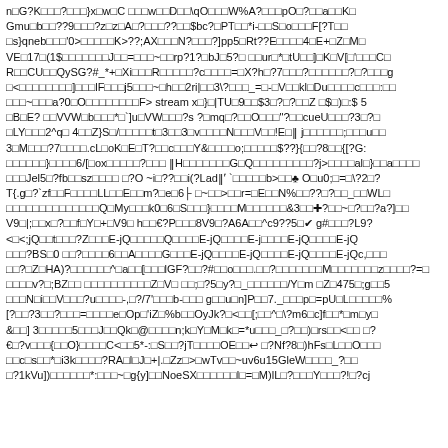nG?K□□□?□□□}x□w□C □□□w□□D□□\qO□□□W%A?□□□pO□?□□a□□K□ Gmu□b□□??9□□□?z□z□A□?□□□??□□$bc?□PT□□*i-□□S□o□□□F[?T□□ □s}qneb□□□'0>□□□□□K>??;AX□□□N?□□□?]pp5□Rt??E□□□□4□E+□Z□M□ VE□17□(1$□□□□□□□J□□=□□□~□□rp?1?□bJ□5?□ □□ur□*□tU□□]□K□V[□'□□□C□ R□□CU□□QySG?#_*+□Xi□□□R□□□□□?c□□□□=□X?h□?7□□□?□□□□□□?□?□□□g □<□□□□□□□□]□□□lF□□□j5□□□~□h□□2ri|□□3\?□□□_=□-□V□□kl□Du□□□□c□□□:□□ □□□~□□□a?0□O□□□□□□□□F> stream x□}□|TU□9□□$3□?□?□□Z □$□)□:$ 5 □B□E? □□VVW□b□□□*□`]u□VW□□□?s ?□mq□?□□O□□□"?□□cueU□□□?3□?□ □LY□□□2^q□4□□Z}S□/□□□□□t□3□□3□v□□□□N□□□V□□!E□‖ j□□□□□□;□□□u□□ 3□M□□□?7□□□□.cL□oK□E□T?□□c□□□Y&□□□□o;□□□□□$??}{$□□?8□□{[?G: □□□□□□}□□□□6/[□ox□□□□□?□□□ ‖H□□□□□□□G□Q□□□□□□□□□?j>□□□□al□}□□a□□□□ □□□Jel5□?fb□□sz□□□□ □?O ~i□??□□i(?Lad‖˹ `□□□□□b>□□♣ O□u0;□=□\?2□? T{.g□?`zf□□F□□□□LL□□E□□m?□e□6├ □~□□>□□r=□E□□N%□□??□?□□_□□WL□ □□□□□□□□□□□□□□Q□My□□□k0□6□S□□□}□□□□M□□□□□□&3□□✚?□□~□?□□?a?]□□ V9□|;□□x□?□□f□Y□+□V9□ h□□€?P□□□8V9□?A6A□□^c9??5□✔ g#□□□?L9? <□<;jQ□□t□□□?Z□□□E-jQ□□□□□Q□□□□E-jQ□□□□E-j□□□□E-jQ□□□□E-jQ □□□?BS□0 □□?□□□□6□□A□□□□G□□□E-jQ□□□□E-jQ□□□□E-jQ□□□□E-jQc,□□□ □□?□Z□HA)?□□□□□□^□a□□[□□□lGF?□□?#□□o□□□.□□?□□□□□□□М□□□□□□□z□□□□?=□ □□□□v?□;BZ□□ □□□□□□□□□□Z□V□ □□;□?5□y?□_□□□□□□/Y□m □Z□4750;g□□5 □□□N□i□□V□□□?u□□□□-,□?/7'□□□b-□□□ g□□u□n]P□□7._□□□p□=pU□L□□□□□% [?□□?□3□□?□□□=□□□□e□Op□'iZ□%b□□OyJk?□<□□[;□□^□\?m6□c]f□□*□m□y□ &□□] 3□□□□□5□□□J□□Qk□@□□□□n;k□Y□M□k□=*u□□□_□?□□)□rs□□<□□ □? €□?v□□□{□□O}□□□□C<□□5*-:□S□□?jT□□□□OE□□↩ □?Nf?8□)hFs□L□□O□□□ □□c□s□□*□i3k□□□□?RA□l□J□+|.□Zz□>□wTv□□~uv6u15GleW□□□□_?□□ □?1kVu])□□□□□□*:□□□~□g{y]□□NoeSX□□□□□□l□=□M)lL□?□□□Y□□□?!□?cj